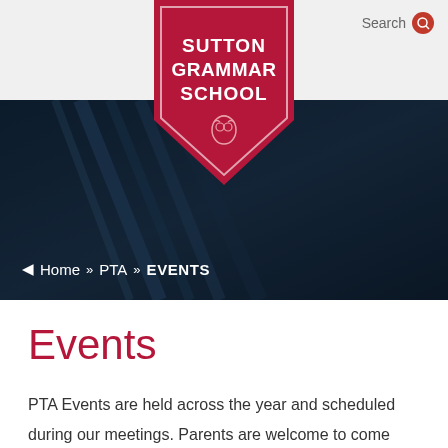[Figure (logo): Sutton Grammar School crest/shield logo in crimson/dark red with white text reading SUTTON GRAMMAR SCHOOL and an owl emblem]
Search  ≡
[Figure (photo): Dark hero banner image showing pencils or pens on a dark blue/navy background]
Home » PTA » EVENTS
Events
PTA Events are held across the year and scheduled during our meetings. Parents are welcome to come forward and lead an event that is of interest to them.